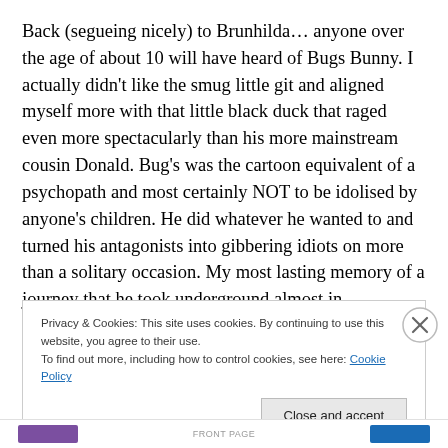Back (segueing nicely) to Brunhilda… anyone over the age of about 10 will have heard of Bugs Bunny. I actually didn't like the smug little git and aligned myself more with that little black duck that raged even more spectacularly than his more mainstream cousin Donald. Bug's was the cartoon equivalent of a psychopath and most certainly NOT to be idolised by anyone's children. He did whatever he wanted to and turned his antagonists into gibbering idiots on more than a solitary occasion. My most lasting memory of a journey that he took underground almost in
Privacy & Cookies: This site uses cookies. By continuing to use this website, you agree to their use.
To find out more, including how to control cookies, see here: Cookie Policy
Close and accept